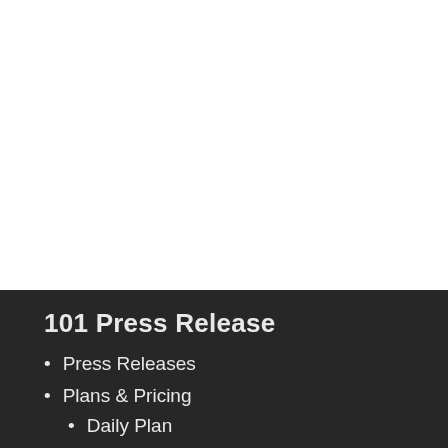101 Press Release
Press Releases
Plans & Pricing
Daily Plan